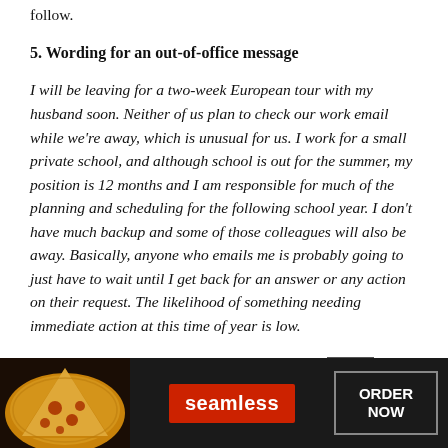follow.
5. Wording for an out-of-office message
I will be leaving for a two-week European tour with my husband soon. Neither of us plan to check our work email while we're away, which is unusual for us. I work for a small private school, and although school is out for the summer, my position is 12 months and I am responsible for much of the planning and scheduling for the following school year. I don't have much backup and some of those colleagues will also be away. Basically, anyone who emails me is probably going to just have to wait until I get back for an answer or any action on their request. The likelihood of something needing immediate action at this time of year is low.
What is the best way to word my away message [CLOSE] 't really w… two weeks. …k date,
[Figure (screenshot): Seamless food delivery advertisement banner with pizza image, red Seamless logo button, and ORDER NOW button with CLOSE button overlay]